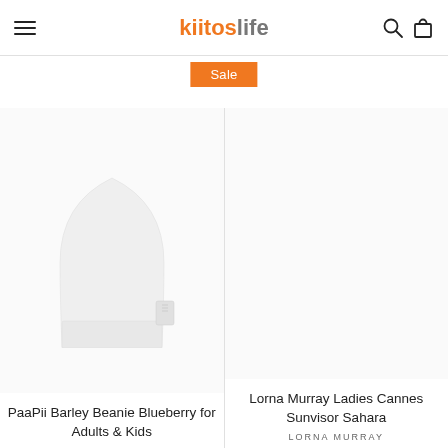kiitoslife
Sale
[Figure (photo): White knit beanie hat with a small label tag on the side, displayed on a white background]
PaaPii Barley Beanie Blueberry for Adults & Kids
Lorna Murray Ladies Cannes Sunvisor Sahara
LORNA MURRAY